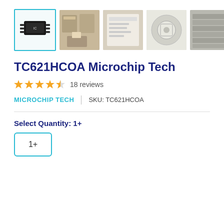[Figure (photo): Row of 5 product thumbnail images for TC621HCOA microchip. First thumbnail (selected, cyan border) shows the IC chip on black background. Second shows boxes being handled. Third shows a product label/spec sheet. Fourth shows a chip reel. Fifth shows stacked reels/packaging.]
TC621HCOA Microchip Tech
★★★★☆ 18 reviews
MICROCHIP TECH  |  SKU: TC621HCOA
Select Quantity:  1+
1+